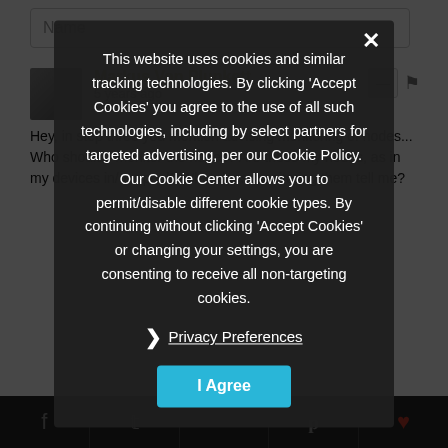Name
Markus Von Plunkett
5 years ago
Hey, in step three you mention advising monitoring of nodes... Who should I monitor the nodes? Are these my nodes, as in my devices in/our pool? What does monitoring them tell me?
This website uses cookies and similar tracking technologies. By clicking 'Accept Cookies' you agree to the use of all such technologies, including by select partners for targeted advertising, per our Cookie Policy. Our Cookie Center allows you to permit/disable different cookie types. By continuing without clicking 'Accept Cookies' or changing your settings, you are consenting to receive all non-targeting cookies.
Privacy Preferences
I Agree
Storj will be implemented into the new "megaupload" the